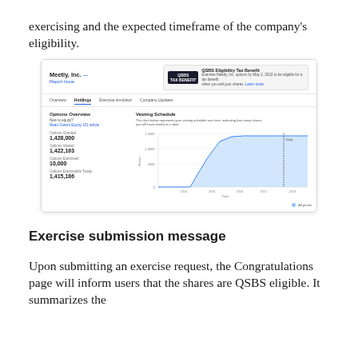exercising and the expected timeframe of the company's eligibility.
[Figure (screenshot): Screenshot of Carta/Meetly Inc. Holdings page showing Options Overview (Options Granted: 1,428,000; Options Vested: 1,422,163; Options Exercised: 10,000; Options Exercisable Today: 1,415,186) and a Vesting Schedule area chart showing shares vesting over time from 2014 to 2023. QSBS Eligibility Tax Benefit banner shown at top right.]
Exercise submission message
Upon submitting an exercise request, the Congratulations page will inform users that the shares are QSBS eligible. It summarizes the